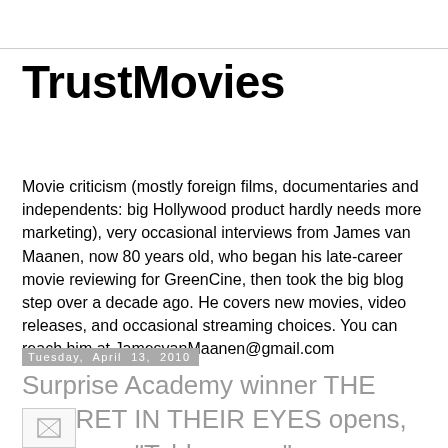TrustMovies
Movie criticism (mostly foreign films, documentaries and independents: big Hollywood product hardly needs more marketing), very occasional interviews from James van Maanen, now 80 years old, who began his late-career movie reviewing for GreenCine, then took the big blog step over a decade ago. He covers new movies, video releases, and occasional streaming choices. You can reach him at JamesvanMaanen@gmail.com
Tuesday, April 13, 2010
Surprise Academy winner THE SECRET IN THEIR EYES opens, TM says: "Told you so."
[Figure (photo): Small broken/placeholder image icon in bottom left area]